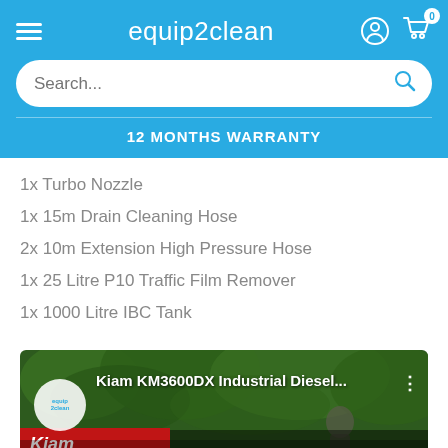equip2clean
12 MONTHS WARRANTY
1x Turbo Nozzle
1x 15m Drain Cleaning Hose
2x 10m Extension High Pressure Hose
1x 25 Litre P10 Traffic Film Remover
1x 1000 Litre IBC Tank
[Figure (screenshot): Video thumbnail showing Kiam KM3600DX Industrial Diesel product video with equip2clean logo, Kiam branding and a person standing outdoors with trees in background]